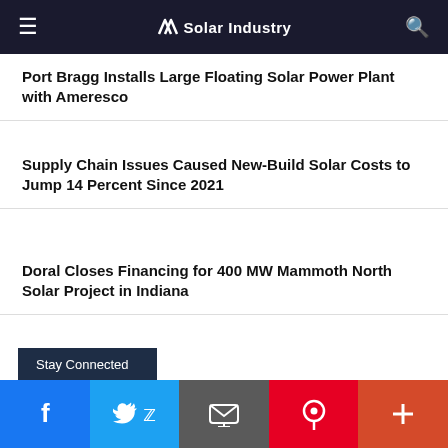Solar Industry
Port Bragg Installs Large Floating Solar Power Plant with Ameresco
Supply Chain Issues Caused New-Build Solar Costs to Jump 14 Percent Since 2021
Doral Closes Financing for 400 MW Mammoth North Solar Project in Indiana
Stay Connected